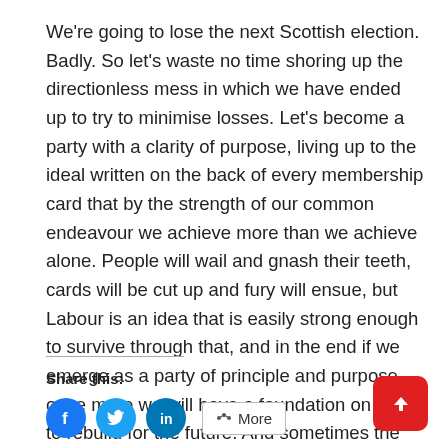We're going to lose the next Scottish election. Badly. So let's waste no time shoring up the directionless mess in which we have ended up to try to minimise losses. Let's become a party with a clarity of purpose, living up to the ideal written on the back of every membership card that by the strength of our common endeavour we achieve more than we achieve alone. People will wail and gnash their teeth, cards will be cut up and fury will ensue, but Labour is an idea that is easily strong enough to survive through that, and in the end if we emerge as a party of principle and purpose once more we will have a foundation on which to rebuild for the future. And sometimes the future comes a lot quicker than you think.
Share this:
[Figure (other): Social sharing icons: Facebook (blue circle), Twitter (blue circle), LinkedIn (blue circle), and a More button with share icon]